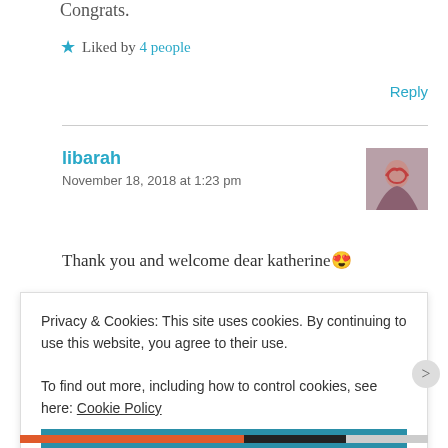Congrats.
★ Liked by 4 people
Reply
libarah
November 18, 2018 at 1:23 pm
Thank you and welcome dear katherine 😍
Privacy & Cookies: This site uses cookies. By continuing to use this website, you agree to their use.
To find out more, including how to control cookies, see here: Cookie Policy
Close and accept